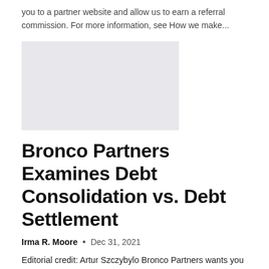you to a partner website and allow us to earn a referral commission. For more information, see How we make...
[Figure (other): Gray rectangular image placeholder]
Bronco Partners Examines Debt Consolidation vs. Debt Settlement
Irma R. Moore • Dec 31, 2021
Editorial credit: Artur Szczybylo Bronco Partners wants you to know that unsecured debt is a burden for everyone. But it doesn't have to be: Write a review about Bronco Partners' debt